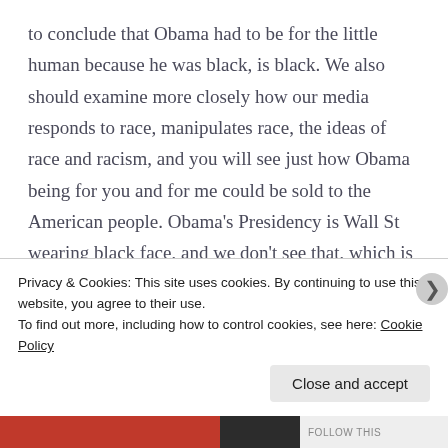to conclude that Obama had to be for the little human because he was black, is black. We also should examine more closely how our media responds to race, manipulates race, the ideas of race and racism, and you will see just how Obama being for you and for me could be sold to the American people. Obama's Presidency is Wall St wearing black face, and we don't see that, which is troubling, and the fact how this assertion will be misread and misconceived will continue the point of our trouble. We miss how Obama's presidency is in effect, a minstrel show, the
Privacy & Cookies: This site uses cookies. By continuing to use this website, you agree to their use.
To find out more, including how to control cookies, see here: Cookie Policy
Close and accept